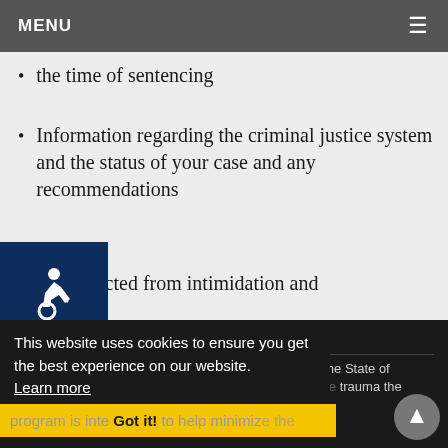MENU ≡
the time of sentencing
Information regarding the criminal justice system and the status of your case and any recommendations
Be protected from intimidation and
Victim Witness Program
The victim witness program is funded by a grant from the State of California. The program is intended to help minimize the trauma the victim(s) experience in the wake of a crime
This website uses cookies to ensure you get the best experience on our website. Learn more
program is intended to help minimize the